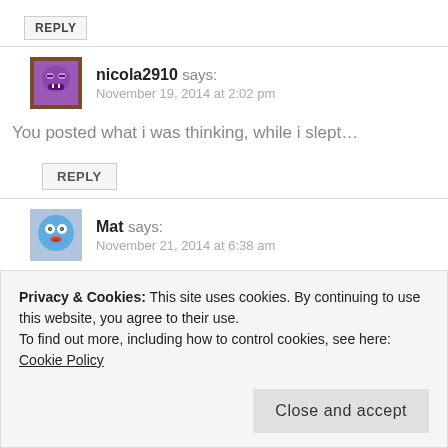REPLY
nicola2910 says:
November 19, 2014 at 2:02 pm
You posted what i was thinking, while i slept...
REPLY
Mat says:
November 21, 2014 at 6:38 am
Privacy & Cookies: This site uses cookies. By continuing to use this website, you agree to their use.
To find out more, including how to control cookies, see here: Cookie Policy
Close and accept